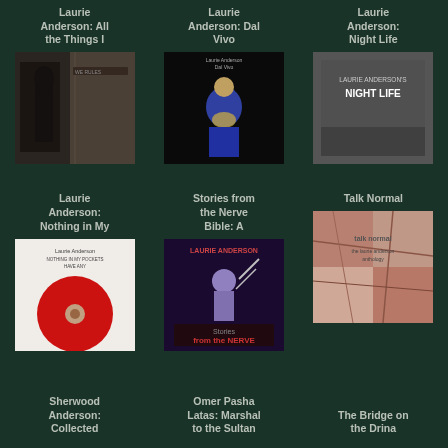Laurie Anderson: All the Things I
Laurie Anderson: Dal Vivo
Laurie Anderson: Night Life
[Figure (photo): Album/book cover for Laurie Anderson: All the Things I]
[Figure (photo): Album/book cover for Laurie Anderson: Dal Vivo - dark background with figure in blue]
[Figure (photo): Album cover for Laurie Anderson: Night Life - dark gray with white text]
Laurie Anderson: Nothing in My
Stories from the Nerve Bible: A
Talk Normal
[Figure (photo): Cover for Laurie Anderson: Nothing in My - white background with red circle/disc]
[Figure (photo): Cover for Stories from the Nerve Bible - dark with performer and text NERVE]
[Figure (photo): Cover for Talk Normal - abstract pinkish/red textured design]
Sherwood Anderson: Collected
Omer Pasha Latas: Marshal to the Sultan
The Bridge on the Drina